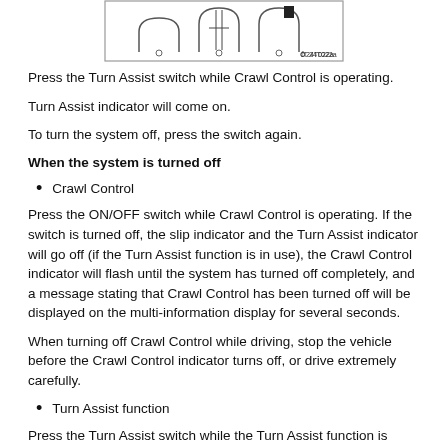[Figure (engineering-diagram): Technical diagram showing Crawl Control and Turn Assist switch mechanism with arch shapes and labeled reference IT124T022a]
Press the Turn Assist switch while Crawl Control is operating.
Turn Assist indicator will come on.
To turn the system off, press the switch again.
When the system is turned off
Crawl Control
Press the ON/OFF switch while Crawl Control is operating. If the switch is turned off, the slip indicator and the Turn Assist indicator will go off (if the Turn Assist function is in use), the Crawl Control indicator will flash until the system has turned off completely, and a message stating that Crawl Control has been turned off will be displayed on the multi-information display for several seconds.
When turning off Crawl Control while driving, stop the vehicle before the Crawl Control indicator turns off, or drive extremely carefully.
Turn Assist function
Press the Turn Assist switch while the Turn Assist function is operating.
When the switch is pressed, the Turn Assist indicator will go off, and a